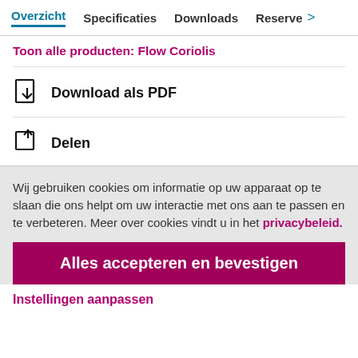Overzicht  Specificaties  Downloads  Reserve >
Toon alle producten: Flow Coriolis
Download als PDF
Delen
Wij gebruiken cookies om informatie op uw apparaat op te slaan die ons helpt om uw interactie met ons aan te passen en te verbeteren. Meer over cookies vindt u in het privacybeleid.
Alles accepteren en bevestigen
Instellingen aanpassen